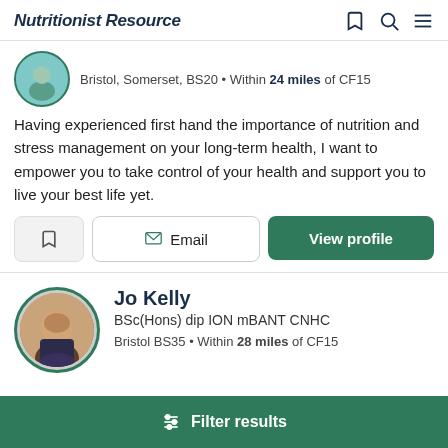Nutritionist Resource
Bristol, Somerset, BS20 • Within 24 miles of CF15
Having experienced first hand the importance of nutrition and stress management on your long-term health, I want to empower you to take control of your health and support you to live your best life yet.
Email | View profile
Jo Kelly
BSc(Hons) dip ION mBANT CNHC
Bristol BS35 • Within 28 miles of CF15
Filter results